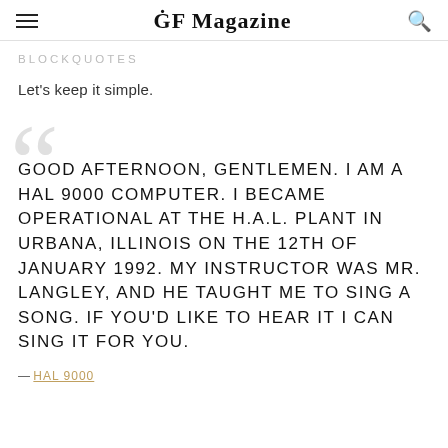GF Magazine
BLOCKQUOTES
Let's keep it simple.
GOOD AFTERNOON, GENTLEMEN. I AM A HAL 9000 COMPUTER. I BECAME OPERATIONAL AT THE H.A.L. PLANT IN URBANA, ILLINOIS ON THE 12TH OF JANUARY 1992. MY INSTRUCTOR WAS MR. LANGLEY, AND HE TAUGHT ME TO SING A SONG. IF YOU'D LIKE TO HEAR IT I CAN SING IT FOR YOU.
— HAL 9000